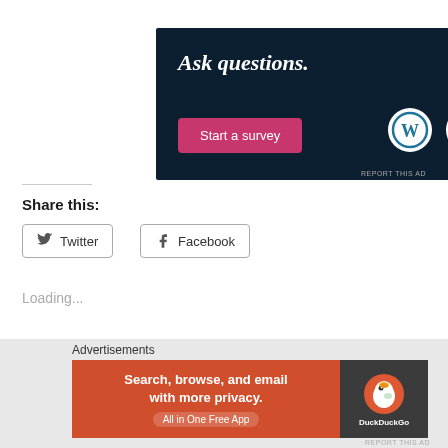[Figure (screenshot): Advertisement banner with dark navy background. Text reads 'Ask questions.' in large serif white font. Pink/magenta rounded button labeled 'Start a survey'. WordPress logo and another circular logo on the right side.]
REPORT THIS AD
Share this:
Twitter
Facebook
Loading...
[Figure (screenshot): Bottom advertisement banner. Left side orange/red with text 'Search, browse, and email with more privacy. All in One Free App'. Right side dark with DuckDuckGo logo and text.]
Advertisements
REPORT THIS AD